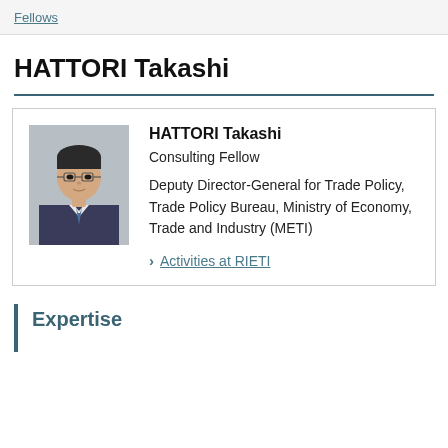Fellows
HATTORI Takashi
[Figure (photo): Portrait photo of HATTORI Takashi, a man in glasses wearing a suit and tie]
HATTORI Takashi
Consulting Fellow
Deputy Director-General for Trade Policy, Trade Policy Bureau, Ministry of Economy, Trade and Industry (METI)
> Activities at RIETI
Expertise